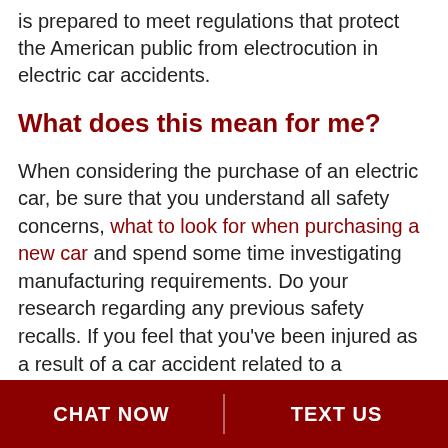is prepared to meet regulations that protect the American public from electrocution in electric car accidents.
What does this mean for me?
When considering the purchase of an electric car, be sure that you understand all safety concerns, what to look for when purchasing a new car and spend some time investigating manufacturing requirements. Do your research regarding any previous safety recalls. If you feel that you've been injured as a result of a car accident related to a manufacturing weakness or defect, you may be entitled to compensation. Robert Levine and Associates can help. Call 800-LAW-1222 for a free consultation.
CHAT NOW | TEXT US